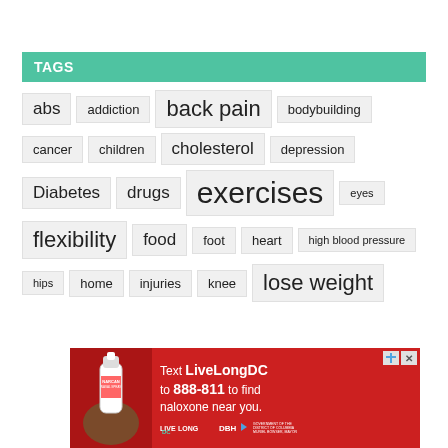TAGS
abs
addiction
back pain
bodybuilding
cancer
children
cholesterol
depression
Diabetes
drugs
exercises
eyes
flexibility
food
foot
heart
high blood pressure
hips
home
injuries
knee
lose weight
[Figure (infographic): Red advertisement banner: Text LiveLongDC to 888-811 to find naloxone near you. Features LIVE LONG DC and DBH government logos, and an image of a nasal spray.]